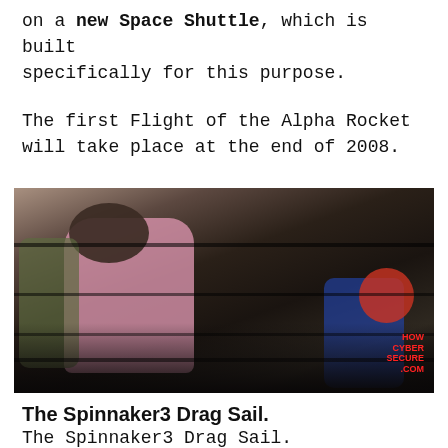on a new Space Shuttle, which is built specifically for this purpose.
The first Flight of the Alpha Rocket will take place at the end of 2008.
[Figure (photo): A glitchy/corrupted photo showing a person in a pink jacket and other children outdoors, with a watermark reading HOW CYBER SECURE .COM in red text at the bottom right.]
The Spinnaker3 Drag Sail.
The Spinnaker3 Drag Sail.